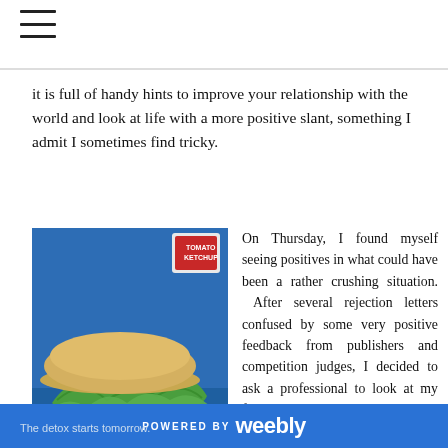≡ (hamburger menu icon)
it is full of handy hints to improve your relationship with the world and look at life with a more positive slant, something I admit I sometimes find tricky.
[Figure (photo): Photo of a large burger/sandwich with lettuce, tomato, and bun on a blue surface, with a tomato ketchup bottle visible in the background.]
On Thursday, I found myself seeing positives in what could have been a rather crushing situation.  After several rejection letters confused by some very positive feedback from publishers and competition judges, I decided to ask a professional to look at my first novel, Faith, Hope and Chocolate.  Deep down I knew it wasn't my best writing by any
The detox starts tomorrow.
POWERED BY weebly